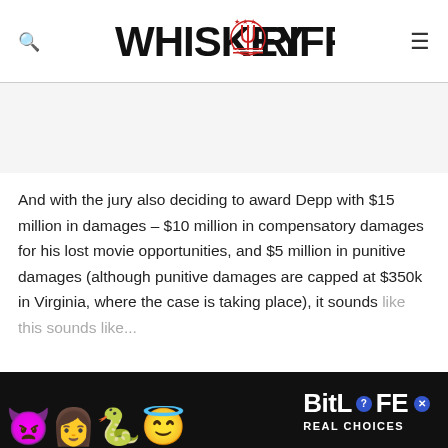WHISKEYRIFF
And with the jury also deciding to award Depp with $15 million in damages – $10 million in compensatory damages for his lost movie opportunities, and $5 million in punitive damages (although punitive damages are capped at $350k in Virginia, where the case is taking place), it sounds like this sounds like...
[Figure (other): BitLife advertisement banner with emoji characters and text REAL CHOICES]